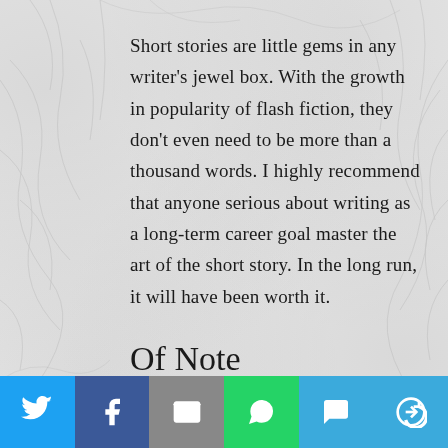Short stories are little gems in any writer's jewel box. With the growth in popularity of flash fiction, they don't even need to be more than a thousand words. I highly recommend that anyone serious about writing as a long-term career goal master the art of the short story. In the long run, it will have been worth it.
Of Note
[Figure (infographic): Social media share bar with icons for Twitter, Facebook, Email, WhatsApp, SMS, and More (circular arrow). Each button has a distinct background color: blue, dark blue, gray, green, light blue, light blue.]